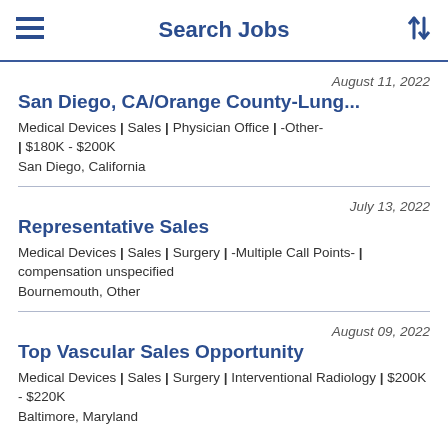Search Jobs
August 11, 2022
San Diego, CA/Orange County-Lung...
Medical Devices | Sales | Physician Office | -Other- | $180K - $200K
San Diego, California
July 13, 2022
Representative Sales
Medical Devices | Sales | Surgery | -Multiple Call Points- | compensation unspecified
Bournemouth, Other
August 09, 2022
Top Vascular Sales Opportunity
Medical Devices | Sales | Surgery | Interventional Radiology | $200K - $220K
Baltimore, Maryland